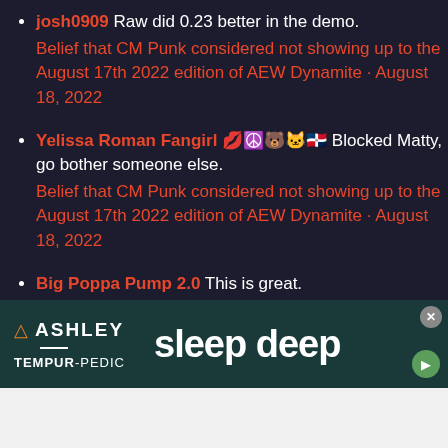josh0909 Raw did 0.23 better in the demo. Belief that CM Punk considered not showing up to the August 17th 2022 edition of AEW Dynamite · August 18, 2022
Yelissa Roman Fangirl 💋☮️🐻🐱🇩🇴 Blocked Matty, go bother someone else. Belief that CM Punk considered not showing up to the August 17th 2022 edition of AEW Dynamite · August 18, 2022
Big Poppa Pump 2.0 This is great.
[Figure (screenshot): Ashley Furniture and Tempur-Pedic advertisement banner with 'sleep deep' text]